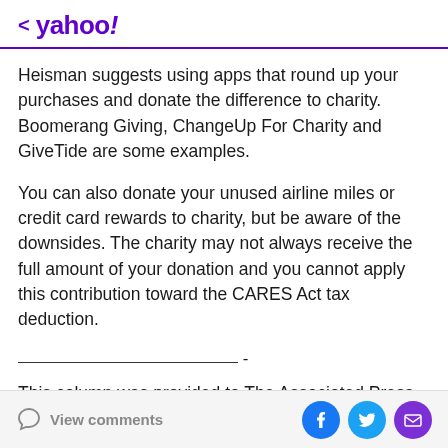< yahoo!
Heisman suggests using apps that round up your purchases and donate the difference to charity. Boomerang Giving, ChangeUp For Charity and GiveTide are some examples.
You can also donate your unused airline miles or credit card rewards to charity, but be aware of the downsides. The charity may not always receive the full amount of your donation and you cannot apply this contribution toward the CARES Act tax deduction.
_______________________________ -
This column was provided to The Associated Press by the
View comments